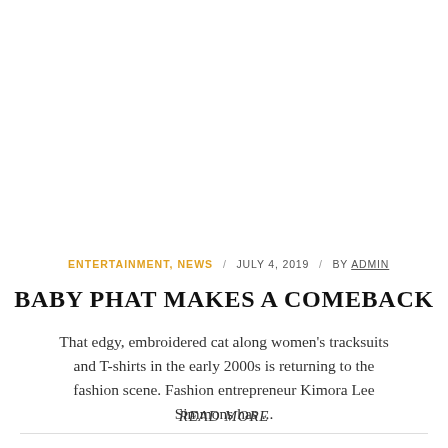ENTERTAINMENT, NEWS  /  JULY 4, 2019  /  BY ADMIN
BABY PHAT MAKES A COMEBACK
That edgy, embroidered cat along women's tracksuits and T-shirts in the early 2000s is returning to the fashion scene. Fashion entrepreneur Kimora Lee Simmons has ...
READ MORE